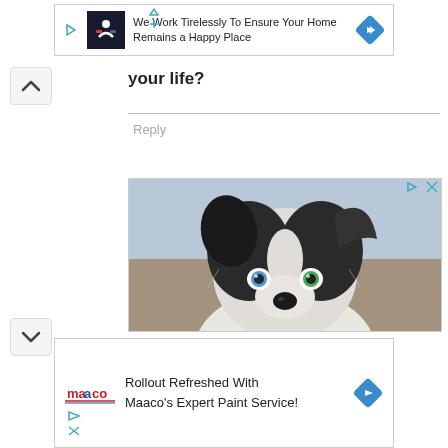[Figure (screenshot): Advertisement banner: We Work Tirelessly To Ensure Your Home Remains a Happy Place, with navigation icon and blue diamond arrow button]
your life?
Reply
[Figure (photo): Close-up photo of a border collie puppy with heterochromia (one blue eye and one green eye), black and white fur, against a blurred outdoor background]
[Figure (screenshot): Advertisement banner: Rollout Refreshed With Maaco's Expert Paint Service!, with Maaco logo and blue diamond arrow button]